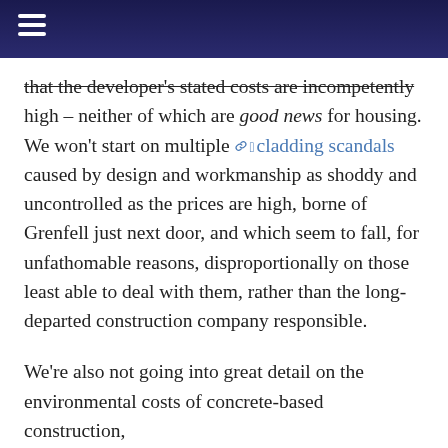that the developer's stated costs are incompetently high – neither of which are good news for housing. We won't start on multiple cladding scandals caused by design and workmanship as shoddy and uncontrolled as the prices are high, borne of Grenfell just next door, and which seem to fall, for unfathomable reasons, disproportionally on those least able to deal with them, rather than the long-departed construction company responsible.
We're also not going into great detail on the environmental costs of concrete-based construction, in rude health after some retreat, despite declarations of climate emergency, which should alone be enough to allow the council to see off many